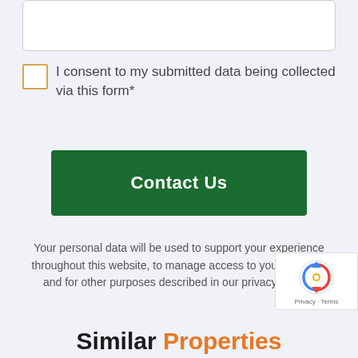[Figure (other): Text input textarea box, empty, with rounded border]
I consent to my submitted data being collected via this form*
Contact Us
Your personal data will be used to support your experience throughout this website, to manage access to your account, and for other purposes described in our privacy policy .
Similar Properties
[Figure (other): reCAPTCHA badge with Privacy and Terms labels]